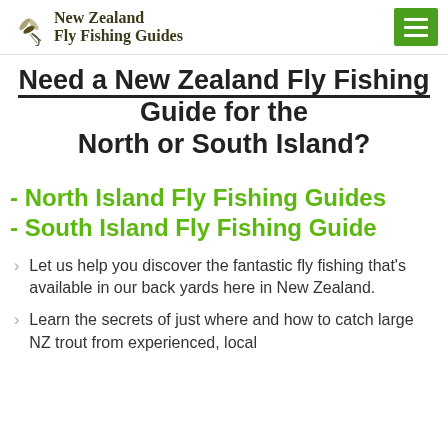New Zealand Fly Fishing Guides
Need a New Zealand Fly Fishing Guide for the North or South Island?
- North Island Fly Fishing Guides
- South Island Fly Fishing Guide
Let us help you discover the fantastic fly fishing that's available in our back yards here in New Zealand.
Learn the secrets of just where and how to catch large NZ trout from experienced, local